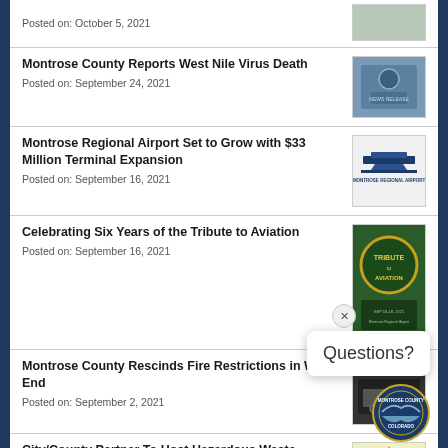Posted on: October 5, 2021
Montrose County Reports West Nile Virus Death
Posted on: September 24, 2021
Montrose Regional Airport Set to Grow with $33 Million Terminal Expansion
Posted on: September 16, 2021
Celebrating Six Years of the Tribute to Aviation
Posted on: September 16, 2021
Montrose County Rescinds Fire Restrictions in West End
Posted on: September 2, 2021
City/County Partner To Host Hazardous Waste
[Figure (screenshot): Questions? popup with close button and Montrose County seal]